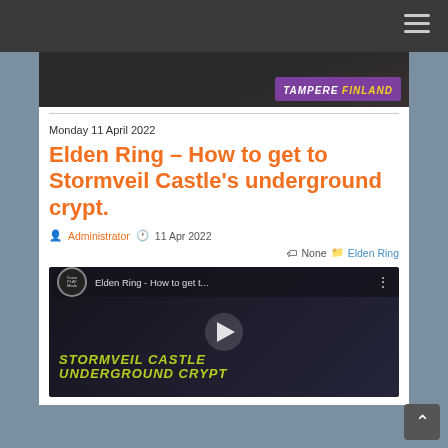[Figure (screenshot): Top image from a gaming website showing a dark textured background with a purple badge reading TAMPERE FINLAND in the bottom right corner]
Monday 11 April 2022
Elden Ring – How to get to Stormveil Castle's underground crypt.
Administrator  11 Apr 2022
None  Elden Ring
[Figure (screenshot): YouTube video thumbnail for 'Elden Ring - How to get t...' showing a dark gaming screenshot with yellow text 'STORMVEIL CASTLE UNDERGROUND CRYPT' and a play button in the center]